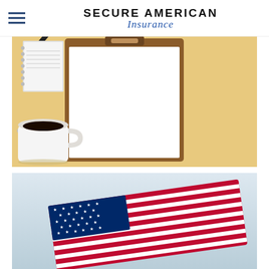SECURE AMERICAN Insurance
[Figure (photo): Top-down view of a clipboard with blank white paper, a pen, and a white coffee cup on a tan/beige background]
[Figure (photo): Photo of an American flag draped/folded against a light blue-grey background]